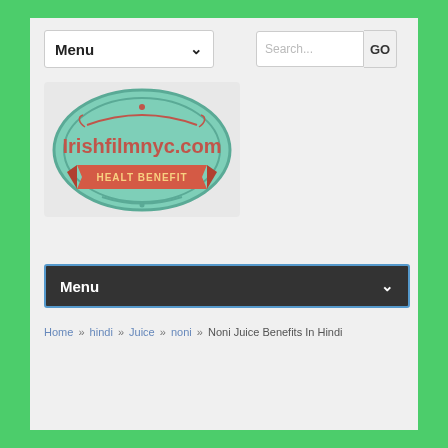[Figure (logo): Irishfilmnyc.com logo — teal oval badge with decorative swirls and a red ribbon banner reading HEALT BENEFIT]
Menu
Search...  GO
Menu
Home » hindi » Juice » noni » Noni Juice Benefits In Hindi